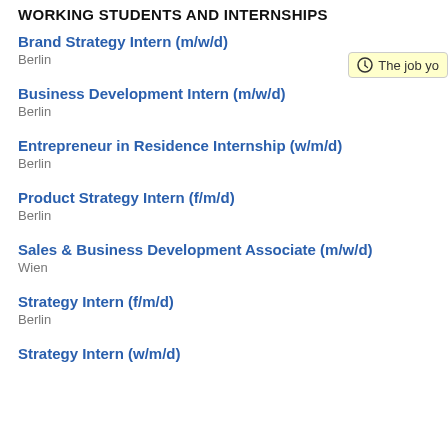WORKING STUDENTS AND INTERNSHIPS
Brand Strategy Intern (m/w/d)
Berlin
Business Development Intern (m/w/d)
Berlin
Entrepreneur in Residence Internship (w/m/d)
Berlin
Product Strategy Intern (f/m/d)
Berlin
Sales & Business Development Associate (m/w/d)
Wien
Strategy Intern (f/m/d)
Berlin
Strategy Intern (w/m/d)